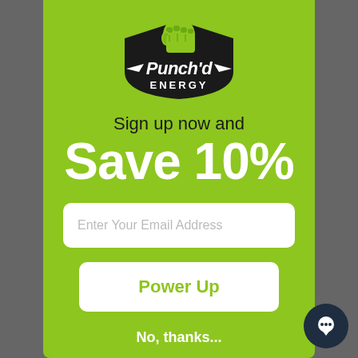[Figure (logo): Punch'd Energy logo — green fist above stylized text 'Punch'd ENERGY' in black and white]
Sign up now and
Save 10%
Enter Your Email Address
Power Up
No, thanks...